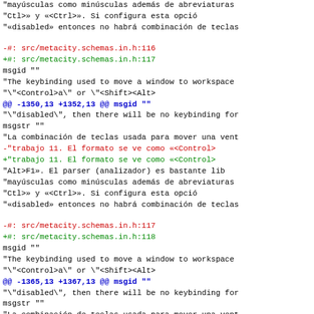diff view of a patch file showing localization changes for metacity keyboard binding descriptions
Context and diff lines including -#:, +#:, msgid, msgstr entries, hunk headers @@ -1350,13 +1352,13 @@ and @@ -1365,13 +1367,13 @@